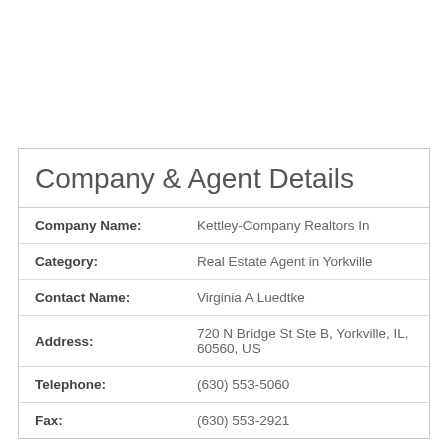Company & Agent Details
| Field | Value |
| --- | --- |
| Company Name: | Kettley-Company Realtors In |
| Category: | Real Estate Agent in Yorkville |
| Contact Name: | Virginia A Luedtke |
| Address: | 720 N Bridge St Ste B, Yorkville, IL, 60560, US |
| Telephone: | (630) 553-5060 |
| Fax: | (630) 553-2921 |